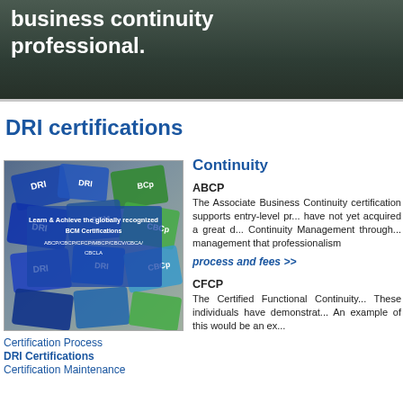business continuity professional.
DRI certifications
[Figure (photo): Photo of DRI certification badges/stickers with text 'Learn & Achieve the globally recognized BCM Certifications ABCP/CBCP/CFCP/MBCP/CBCV/CBCA/CBCLA']
Certification Process
DRI Certifications
Certification Maintenance
Continuity
ABCP
The Associate Business Continuity certification supports entry-level pr... have not yet acquired a great d... Continuity Management through... management that professionalism
process and fees >>
CFCP
The Certified Functional Continuity... These individuals have demonstrat... An example of this would be an ex...